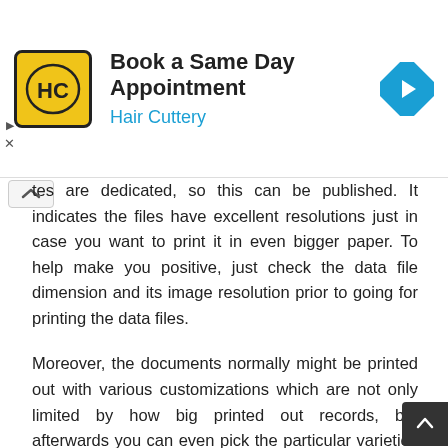[Figure (screenshot): Advertisement banner for Hair Cuttery: logo with HC initials on yellow background, headline 'Book a Same Day Appointment', subheading 'Hair Cuttery' in blue, blue diamond arrow navigation icon on right]
tes are dedicated, so this can be published. It indicates the files have excellent resolutions just in case you want to print it in even bigger paper. To help make you positive, just check the data file dimension and its image resolution prior to going for printing the data files.
Moreover, the documents normally might be printed out with various customizations which are not only limited by how big printed out records, but afterwards you can even pick the particular varieties of paper. Every format might need various paper. By way of example, the schedule or timetable is acceptable with dense paper, in fact it is needless to say different from the worksheets. Then, the printable online gam will probably be wonderful when printed out on shiny paper.